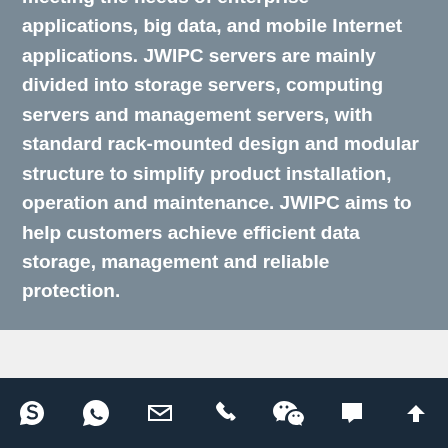meeting the needs of enterprise applications, big data, and mobile Internet applications. JWIPC servers are mainly divided into storage servers, computing servers and management servers, with standard rack-mounted design and modular structure to simplify product installation, operation and maintenance. JWIPC aims to help customers achieve efficient data storage, management and reliable protection.
PRODUCT QUICK FINDER
[Figure (other): Footer navigation bar with icons: Skype, WhatsApp, Email, Phone, WeChat, Chat, Scroll-to-top]